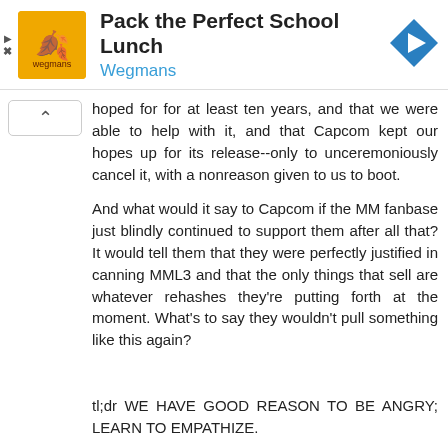[Figure (other): Advertisement banner for 'Pack the Perfect School Lunch' by Wegmans, showing an orange/yellow branded icon on the left, ad title and subtitle text in center, and a blue navigation/arrow diamond icon on the right. Small play and close (X) controls on left edge.]
hoped for for at least ten years, and that we were able to help with it, and that Capcom kept our hopes up for its release--only to unceremoniously cancel it, with a nonreason given to us to boot.

And what would it say to Capcom if the MM fanbase just blindly continued to support them after all that? It would tell them that they were perfectly justified in canning MML3 and that the only things that sell are whatever rehashes they're putting forth at the moment. What's to say they wouldn't pull something like this again?


tl;dr WE HAVE GOOD REASON TO BE ANGRY; LEARN TO EMPATHIZE.
Reply